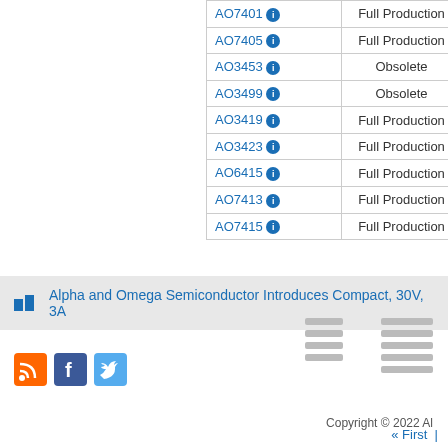| Part | Status |  |
| --- | --- | --- |
| AO7401 ℹ | Full Production |  |
| AO7405 ℹ | Full Production | A |
| AO3453 ℹ | Obsolete | A |
| AO3499 ℹ | Obsolete |  |
| AO3419 ℹ | Full Production |  |
| AO3423 ℹ | Full Production |  |
| AO6415 ℹ | Full Production |  |
| AO7413 ℹ | Full Production |  |
| AO7415 ℹ | Full Production |  |
« First |
Alpha and Omega Semiconductor Introduces Compact, 30V, 3A
[Figure (logo): Social media icons: RSS feed (orange), Facebook (blue), Twitter (light blue)]
Copyright © 2022 Al